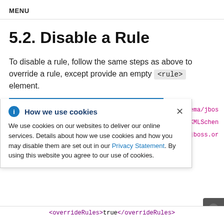MENU
5.2. Disable a Rule
To disable a rule, follow the same steps as above to override a rule, except provide an empty <rule> element.
[Figure (screenshot): Cookie consent popup overlay with title 'How we use cookies', info icon, close button, and body text explaining cookie usage with a Privacy Statement link. Partially overlapping a code snippet panel on the right showing XML schema URLs.]
<overrideRules>true</overrideRules>